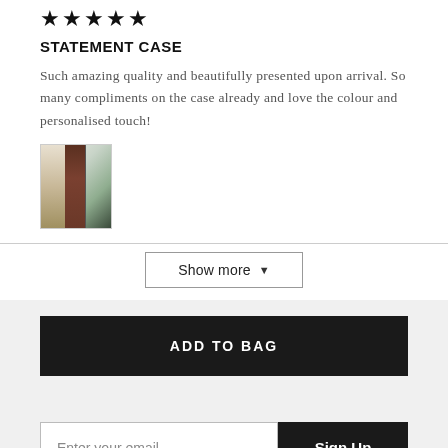[Figure (other): Five black star rating icons]
STATEMENT CASE
Such amazing quality and beautifully presented upon arrival. So many compliments on the case already and love the colour and personalised touch!
[Figure (photo): Thumbnail photo showing two phone cases - one dark teal/navy and one light green, with a beige background]
Show more ▼
ADD TO BAG
Enter your email
Sign Up